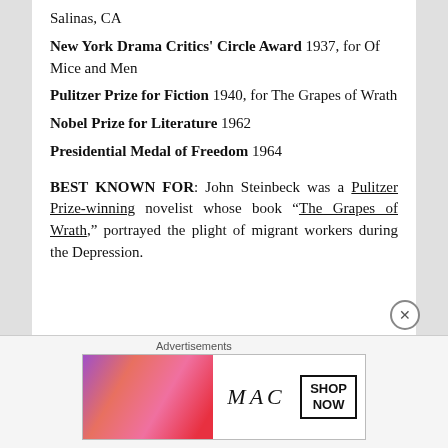Salinas, CA
New York Drama Critics' Circle Award 1937, for Of Mice and Men
Pulitzer Prize for Fiction 1940, for The Grapes of Wrath
Nobel Prize for Literature 1962
Presidential Medal of Freedom 1964
BEST KNOWN FOR: John Steinbeck was a Pulitzer Prize-winning novelist whose book “The Grapes of Wrath,” portrayed the plight of migrant workers during the Depression.
[Figure (photo): MAC Cosmetics advertisement showing colorful lipsticks and SHOP NOW button]